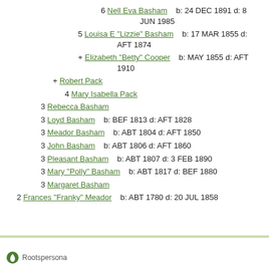6 Nell Eva Basham    b: 24 DEC 1891 d: 8 JUN 1985
5 Louisa E "Lizzie" Basham    b: 17 MAR 1855 d: AFT 1874
+ Elizabeth "Betty" Cooper    b: MAY 1855 d: AFT 1910
+ Robert Pack
4 Mary Isabella Pack
3 Rebecca Basham
3 Loyd Basham    b: BEF 1813 d: AFT 1828
3 Meador Basham    b: ABT 1804 d: AFT 1850
3 John Basham    b: ABT 1806 d: AFT 1860
3 Pleasant Basham    b: ABT 1807 d: 3 FEB 1890
3 Mary "Polly" Basham    b: ABT 1817 d: BEF 1880
3 Margaret Basham
2 Frances "Franky" Meador    b: ABT 1780 d: 20 JUL 1858
Rootspersona